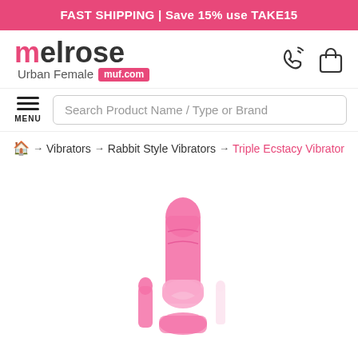FAST SHIPPING | Save 15% use TAKE15
[Figure (logo): Melrose Urban Female muf.com logo with phone and shopping bag icons]
Search Product Name / Type or Brand
Home > Vibrators > Rabbit Style Vibrators > Triple Ecstacy Vibrator
[Figure (photo): Pink Triple Ecstacy Vibrator product photo on white background]